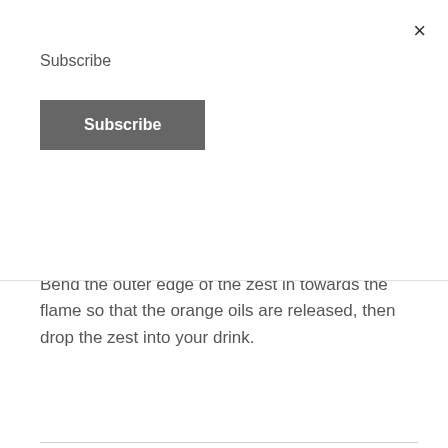×
Subscribe
Subscribe
Bend the outer edge of the zest in towards the flame so that the orange oils are released, then drop the zest into your drink.
Screwdriver
“Cheap and easy.”
Kate
STEP 1 (& Only)
[Figure (photo): A tall glass of orange screwdriver cocktail with ice and an orange slice garnish on the rim, on a white background.]